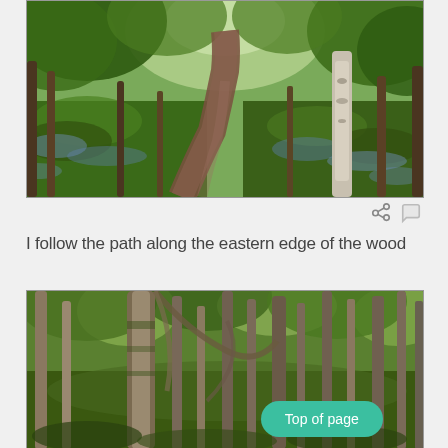[Figure (photo): A woodland path flanked by bluebells and green foliage, with birch trees on the right side]
I follow the path along the eastern edge of the wood
[Figure (photo): Dense woodland with silver birch and other trees in spring foliage, with a 'Top of page' button overlay]